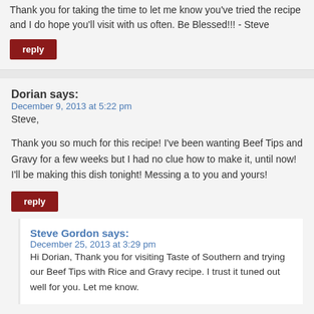Thank you for taking the time to let me know you've tried the recipe and I do hope you'll visit with us often. Be Blessed!!! - Steve
reply
Dorian says:
December 9, 2013 at 5:22 pm
Steve,
Thank you so much for this recipe! I've been wanting Beef Tips and Gravy for a few weeks but I had no clue how to make it, until now! I'll be making this dish tonight! Messing a to you and yours!
reply
Steve Gordon says:
December 25, 2013 at 3:29 pm
Hi Dorian, Thank you for visiting Taste of Southern and trying our Beef Tips with Rice and Gravy recipe. I trust it tuned out well for you. Let me know.